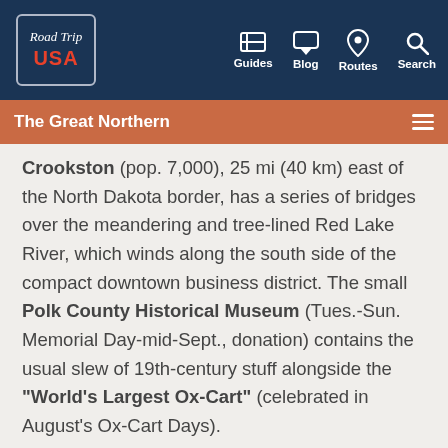Road Trip USA — Guides | Blog | Routes | Search
The Great Northern
Crookston (pop. 7,000), 25 mi (40 km) east of the North Dakota border, has a series of bridges over the meandering and tree-lined Red Lake River, which winds along the south side of the compact downtown business district. The small Polk County Historical Museum (Tues.-Sun. Memorial Day-mid-Sept., donation) contains the usual slew of 19th-century stuff alongside the "World's Largest Ox-Cart" (celebrated in August's Ox-Cart Days).